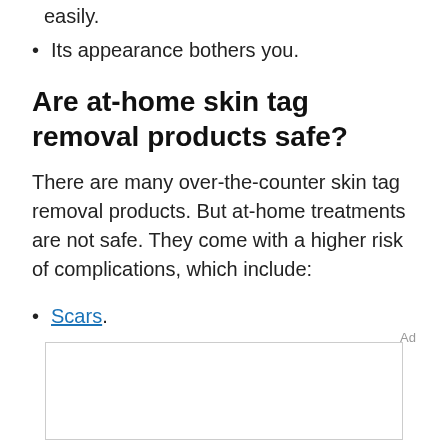The skin tag becomes irritated or bleeds easily.
Its appearance bothers you.
Are at-home skin tag removal products safe?
There are many over-the-counter skin tag removal products. But at-home treatments are not safe. They come with a higher risk of complications, which include:
Scars.
Ad